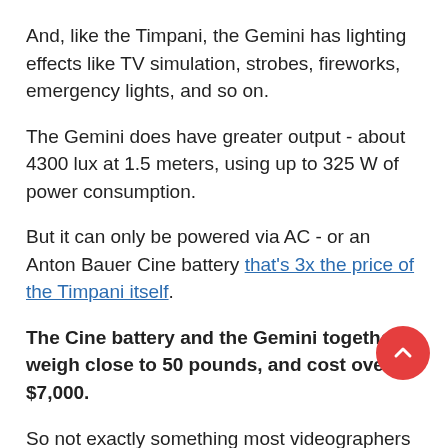And, like the Timpani, the Gemini has lighting effects like TV simulation, strobes, fireworks, emergency lights, and so on.
The Gemini does have greater output - about 4300 lux at 1.5 meters, using up to 325 W of power consumption.
But it can only be powered via AC - or an Anton Bauer Cine battery that's 3x the price of the Timpani itself.
The Cine battery and the Gemini together weigh close to 50 pounds, and cost over $7,000.
So not exactly something most videographers can swallow for a purchase. Renting is more likely.